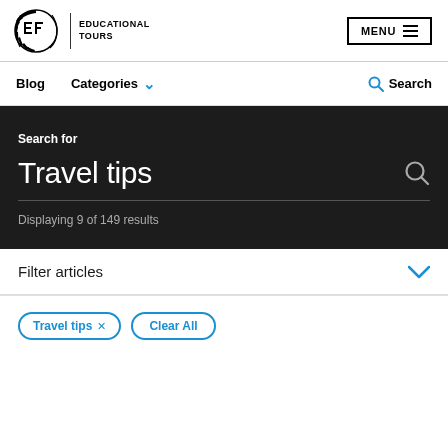[Figure (logo): EF Educational Tours logo with stylized circular icon and text]
Blog
Categories
Search
Search for
Travel tips
Displaying 9 of 149 results
Filter articles
Travel tips ×
Clear All